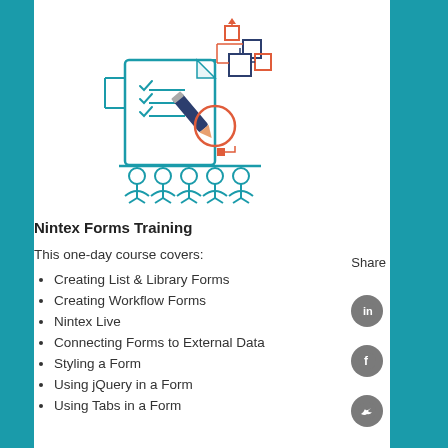[Figure (illustration): Illustration of a form/document with checklist items and a pencil, connected to a flowchart of boxes above, with a group of people silhouettes at the bottom]
Nintex Forms Training
This one-day course covers:
Creating List & Library Forms
Creating Workflow Forms
Nintex Live
Connecting Forms to External Data
Styling a Form
Using jQuery in a Form
Using Tabs in a Form